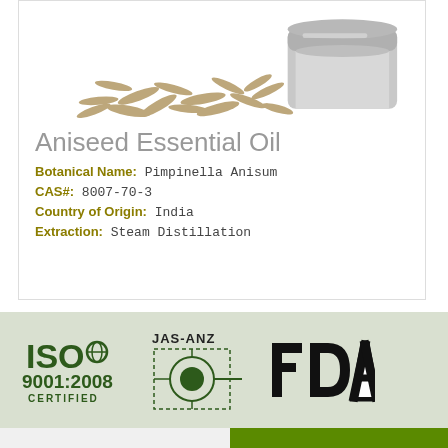[Figure (photo): Product photo of aniseed seeds piled next to a silver aluminum container/jar, on white background]
Aniseed Essential Oil
Botanical Name: Pimpinella Anisum
CAS#: 8007-70-3
Country of Origin: India
Extraction: Steam Distillation
[Figure (logo): ISO 9001:2008 CERTIFIED logo in dark green]
[Figure (logo): JAS-ANZ certification logo with green circular target symbol]
[Figure (logo): FDA logo in bold black text]
ADD TO CART
BUY NOW